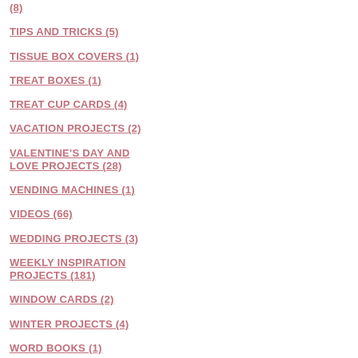(8)
TIPS AND TRICKS (5)
TISSUE BOX COVERS (1)
TREAT BOXES (1)
TREAT CUP CARDS (4)
VACATION PROJECTS (2)
VALENTINE'S DAY AND LOVE PROJECTS (28)
VENDING MACHINES (1)
VIDEOS (66)
WEDDING PROJECTS (3)
WEEKLY INSPIRATION PROJECTS (181)
WINDOW CARDS (2)
WINTER PROJECTS (4)
WORD BOOKS (1)